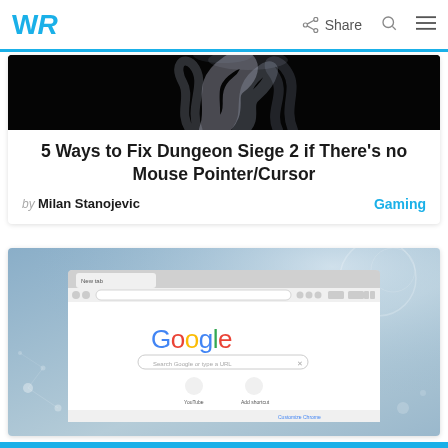WR | Share
[Figure (screenshot): Dark background with smoke/mist visual — article header image for Dungeon Siege 2 article]
5 Ways to Fix Dungeon Siege 2 if There's no Mouse Pointer/Cursor
by Milan Stanojevic    Gaming
[Figure (screenshot): Google Chrome browser screenshot showing the Google homepage with search bar and shortcuts, on a tech/digital blue background]